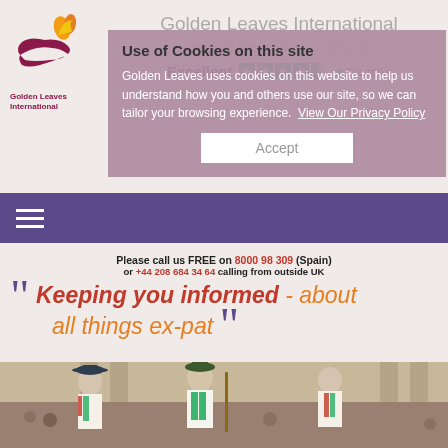[Figure (logo): Golden Leaves International logo with flame and hand icon]
Golden Leaves International
Helping the ex-pat community
Excellent ★★★★½ Trustpilot
Use of Cookies on this site
Golden Leaves uses cookies on this website to help us understand how you and others use our site, so we can tailor your browsing experience. View Our Privacy Policy
Accept
Please call us FREE on 8000 98 309 (Spain) or +44 208 684 34 64 calling from outside UK
" Keeping you informed - about all things ex-pat "
[Figure (photo): Morris dancers in traditional costume with hats and sticks performing outdoors in front of a building]